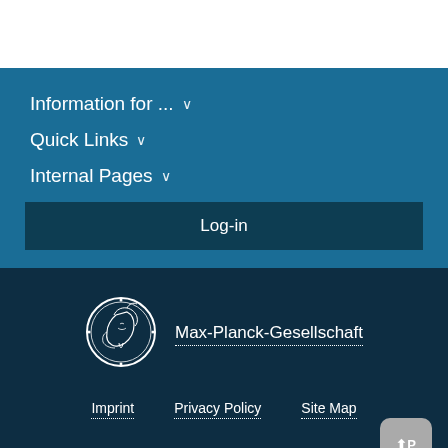Information for ... ∨
Quick Links ∨
Internal Pages ∨
Log-in
[Figure (logo): Max-Planck-Gesellschaft circular coin logo with profile of Minerva]
Max-Planck-Gesellschaft
Imprint   Privacy Policy   Site Map
© 2022, Max-Planck-Gesellschaft